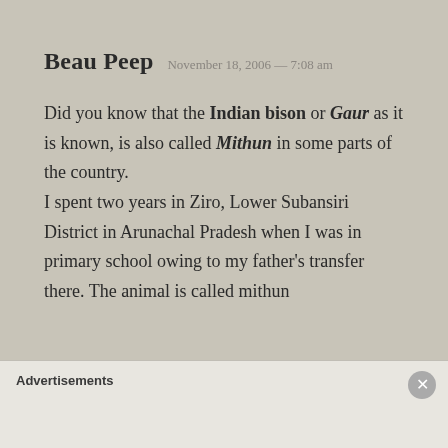Beau Peep  November 18, 2006 — 7:08 am
Did you know that the Indian bison or Gaur as it is known, is also called Mithun in some parts of the country.
I spent two years in Ziro, Lower Subansiri District in Arunachal Pradesh when I was in primary school owing to my father's transfer there. The animal is called mithun
Advertisements